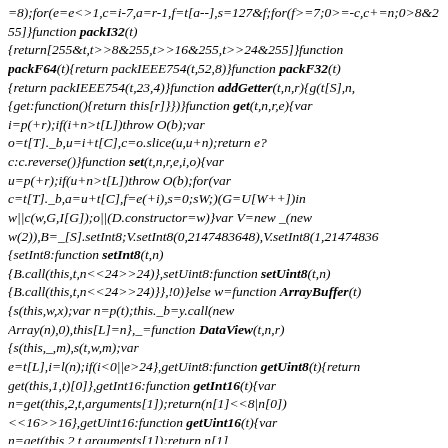=8);for(e=e<>1,c=i-7,a=r-1,f=t[a--],s=127&f;for(f>=7;0>=-c,c+=n;0>8&255]}function packI32(t){return[255&t,t>>8&255,t>>16&255,t>>24&255]}function packF64(t){return packIEEE754(t,52,8)}function packF32(t){return packIEEE754(t,23,4)}function addGetter(t,n,r){g(t[S],n,{get:function(){return this[r]}});}function get(t,n,r,e){var i=p(+r);if(i+n>t[L])throw O(b);var o=t[T]._b,u=i+t[C],c=o.slice(u,u+n);return e?c:c.reverse()}function set(t,n,r,e,i,o){var u=p(+r);if(u+n>t[L])throw O(b);for(var c=t[T]._b,a=u+t[C],f=e(+i),s=0;sW;)(G=U[W++])in w||c(w,G,I[G]);o||(D.constructor=w)}var V=new _(new w(2)),B=_[S].setInt8;V.setInt8(0,2147483648),V.setInt8(1,2147483648){setInt8:function setInt8(t,n){B.call(this,t,n<<24>>24)},setUint8:function setUint8(t,n){B.call(this,t,n<<24>>24)}},!0)}else w=function ArrayBuffer(t){s(this,w,x);var n=p(t);this._b=y.call(new Array(n),0),this[L]=n},_=function DataView(t,n,r){s(this,_,m),s(t,w,m);var e=t[L],i=l(n);if(i<0||e>24},getUint8:function getUint8(t){return get(this,1,t)[0]},getInt16:function getInt16(t){var n=get(this,2,t,arguments[1]);return(n[1]<<8|n[0])<<16>>16},getUint16:function getUint16(t){var n=get(this,2,t,arguments[1]);return n[1]<<8|n[0]},getInt32:function getInt32(t){return